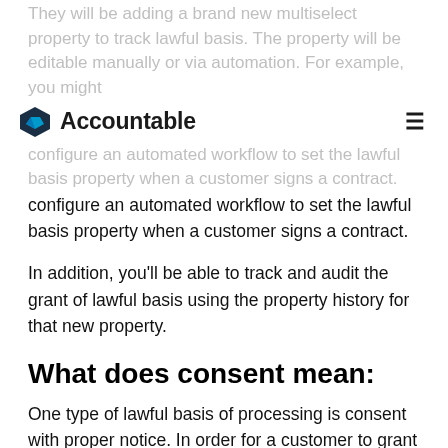They will be adding a brand new multiselect property to track lawful basis. The property will be editable manually or via automation. For example, you might configure an automated workflow to set the lawful basis property when a customer signs a contract.
Accountable
configure an automated workflow to set the lawful basis property when a customer signs a contract.
In addition, you'll be able to track and audit the grant of lawful basis using the property history for that new property.
What does consent mean:
One type of lawful basis of processing is consent with proper notice. In order for a customer to grant consent under the GDPR, these things need to happen:
The customer needs to be told what they are opting into. The information needs to be clearly explained and not confusing or vague on what exactly you will be using